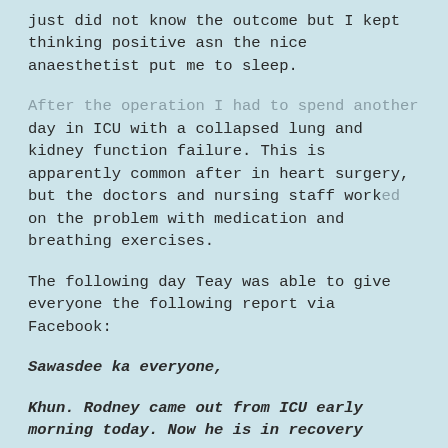just did not know the outcome but I kept thinking positive asn the nice anaesthetist put me to sleep.
After the operation I had to spend another day in ICU with a collapsed lung and kidney function failure. This is apparently common after in heart surgery, but the doctors and nursing staff worked on the problem with medication and breathing exercises.
The following day Teay was able to give everyone the following report via Facebook:
Sawasdee ka everyone,
Khun. Rodney came out from ICU early morning today. Now he is in recovery